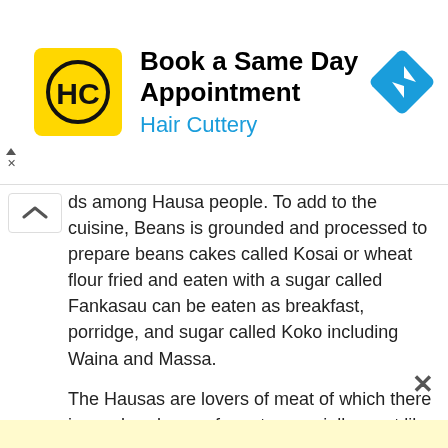[Figure (screenshot): Hair Cuttery advertisement banner: yellow HC logo on left, bold text 'Book a Same Day Appointment' and blue 'Hair Cuttery' subtitle, blue diamond navigation icon on right]
ds among Hausa people. To add to the cuisine, Beans is grounded and processed to prepare beans cakes called Kosai or wheat flour fried and eaten with a sugar called Fankasau can be eaten as breakfast, porridge, and sugar called Koko including Waina and Massa.
The Hausas are lovers of meat of which there is an abundance of meat, especially meat like beef since they are into cattle rearing (especially the nomads or Fulani). Their grilled beef delicacies such as Suya, Kilishi, etc. are popular. Fresh cow milk known as Nunu taken with Furla or dambo is also one of their frequent and treasured meals widely taken by every...